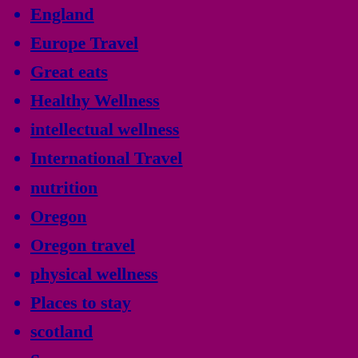England
Europe Travel
Great eats
Healthy Wellness
intellectual wellness
International Travel
nutrition
Oregon
Oregon travel
physical wellness
Places to stay
scotland
Spas
Travel
Travel Tips
Uncategorized
US Travel
Wales
Wellness
Wellness Travel
women business
women success
Women wellness
Meta